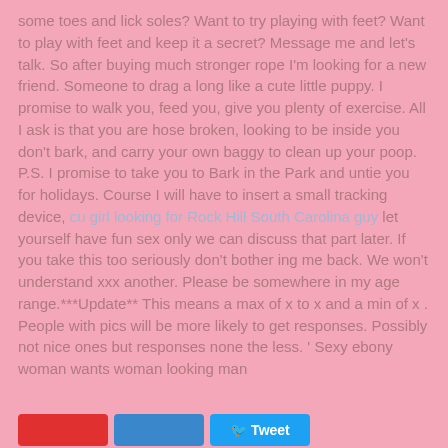some toes and lick soles? Want to try playing with feet? Want to play with feet and keep it a secret? Message me and let's talk. So after buying much stronger rope I'm looking for a new friend. Someone to drag a long like a cute little puppy. I promise to walk you, feed you, give you plenty of exercise. All I ask is that you are hose broken, looking to be inside you don't bark, and carry your own baggy to clean up your poop. P.S. I promise to take you to Bark in the Park and untie you for holidays. Course I will have to insert a small tracking device, cu girl looking for Rock Hill South Carolina guy let yourself have fun sex only we can discuss that part later. If you take this too seriously don't bother ing me back. We won't understand xxx another. Please be somewhere in my age range.***Update** This means a max of x to x and a min of x . People with pics will be more likely to get responses. Possibly not nice ones but responses none the less. ' Sexy ebony woman wants woman looking man